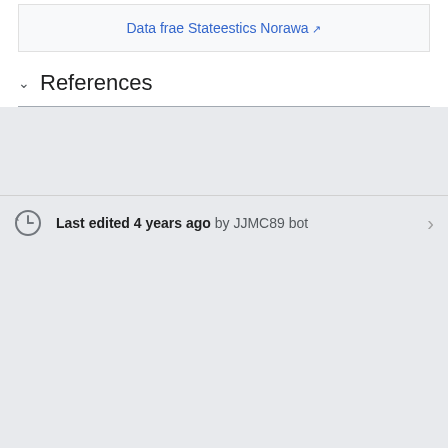Data frae Stateestics Norawa ↗
References
Last edited 4 years ago by JJMC89 bot